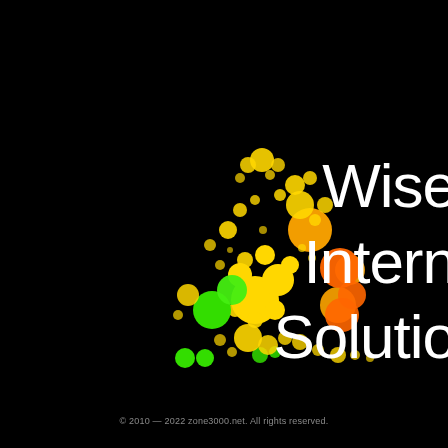[Figure (illustration): Abstract bubble/network scatter illustration with yellow, orange, and green circles of varying sizes arranged in a loose spiral/cluster pattern on a black background, forming part of a logo for Wise Internet Solutions]
Wise
Intern
Solutio
© 2010 — 2022 zone3000.net. All rights reserved.